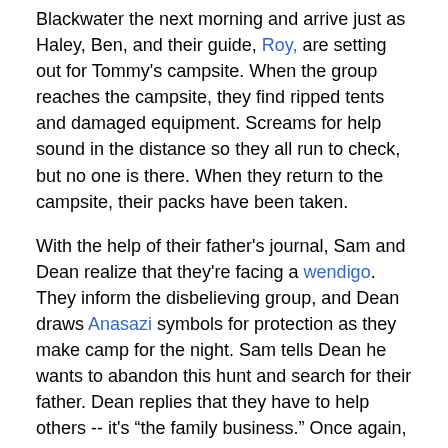Blackwater the next morning and arrive just as Haley, Ben, and their guide, Roy, are setting out for Tommy's campsite. When the group reaches the campsite, they find ripped tents and damaged equipment. Screams for help sound in the distance so they all run to check, but no one is there. When they return to the campsite, their packs have been taken.
With the help of their father's journal, Sam and Dean realize that they're facing a wendigo. They inform the disbelieving group, and Dean draws Anasazi symbols for protection as they make camp for the night. Sam tells Dean he wants to abandon this hunt and search for their father. Dean replies that they have to help others -- it's "the family business." Once again, cries for help can be heard, and Roy ignores Dean's warnings and runs into the dark with his gun. He doesn't return.
The next day Sam and Dean explain that wendigo means ‘evil that devours.’ They were once human but became something else when forced to eat human flesh to survive. Tommy may still be alive, as wendigo hibernate and like to store live food, so they follow the wendigo's bloody trail. Eventually, Roy's dead body falls from a tree and the wendigo appears, causing everyone to scatter